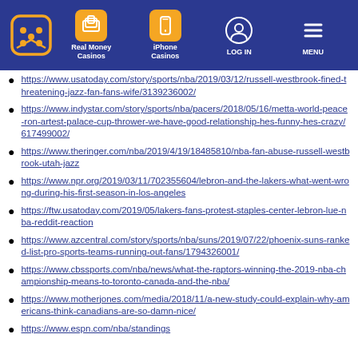Real Money Casinos | iPhone Casinos | LOG IN | MENU
https://www.usatoday.com/story/sports/nba/2019/03/12/russell-westbrook-fined-threatening-jazz-fan-fans-wife/3139236002/
https://www.indystar.com/story/sports/nba/pacers/2018/05/16/metta-world-peace-ron-artest-palace-cup-thrower-we-have-good-relationship-hes-funny-hes-crazy/617499002/
https://www.theringer.com/nba/2019/4/19/18485810/nba-fan-abuse-russell-westbrook-utah-jazz
https://www.npr.org/2019/03/11/702355604/lebron-and-the-lakers-what-went-wrong-during-his-first-season-in-los-angeles
https://ftw.usatoday.com/2019/05/lakers-fans-protest-staples-center-lebron-lue-nba-reddit-reaction
https://www.azcentral.com/story/sports/nba/suns/2019/07/22/phoenix-suns-ranked-list-pro-sports-teams-running-out-fans/1794326001/
https://www.cbssports.com/nba/news/what-the-raptors-winning-the-2019-nba-championship-means-to-toronto-canada-and-the-nba/
https://www.motherjones.com/media/2018/11/a-new-study-could-explain-why-americans-think-canadians-are-so-damn-nice/
https://www.espn.com/nba/standings